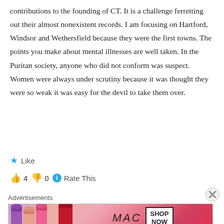contributions to the founding of CT. It is a challenge ferretting out their almost nonexistent records. I am focusing on Hartford, Windsor and Wethersfield because they were the first towns. The points you make about mental illnesses are well taken. In the Puritan society, anyone who did not conform was suspect. Women were always under scrutiny because it was thought they were so weak it was easy for the devil to take them over.
Like
4   0   Rate This
Advertisements
[Figure (photo): MAC cosmetics advertisement banner showing colorful lipsticks on left side, MAC logo in italic text in center, and a 'SHOP NOW' button box on the right.]